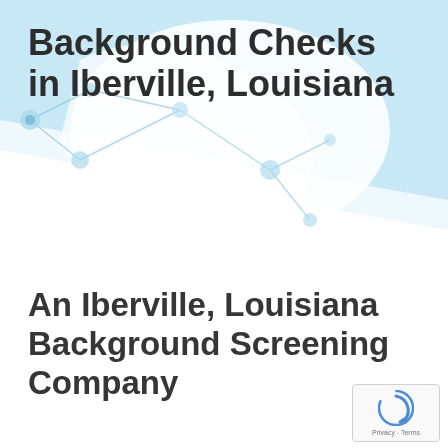[Figure (illustration): Light blue background with abstract network/molecular diagram and white organic blob shape in upper portion of page]
Background Checks in Iberville, Louisiana
An Iberville, Louisiana Background Screening Company
[Figure (logo): reCAPTCHA badge with blue circular arrow icon and Privacy - Terms text]